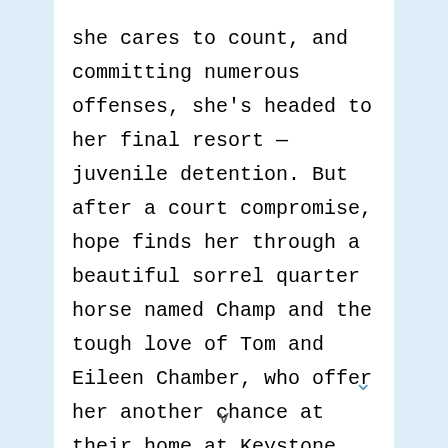she cares to count, and committing numerous offenses, she's headed to her final resort — juvenile detention. But after a court compromise, hope finds her through a beautiful sorrel quarter horse named Champ and the tough love of Tom and Eileen Chamber, who offer her another chance at their home at Keystone Stables. (There are a total of eight